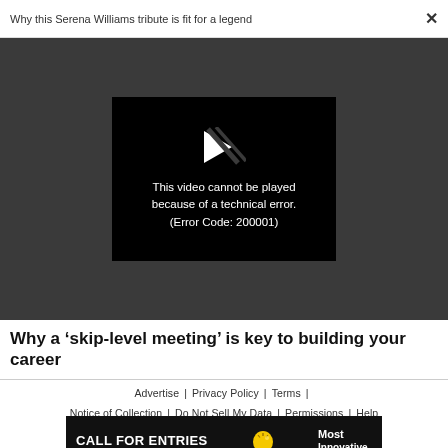Why this Serena Williams tribute is fit for a legend
[Figure (screenshot): Video player showing error: 'This video cannot be played because of a technical error. (Error Code: 200001)' on a dark background with a broken play icon]
Why a ‘skip-level meeting’ is key to building your career
Advertise | Privacy Policy | Terms | Notice of Collection | Do Not Sell My Data | Permissions | Help
[Figure (infographic): Banner ad: CALL FOR ENTRIES / DEADLINE: SEPTEMBER 23 / [lightbulb icon] / Most Innovative Companies]